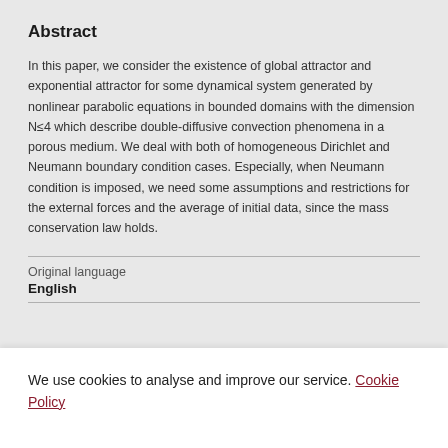Abstract
In this paper, we consider the existence of global attractor and exponential attractor for some dynamical system generated by nonlinear parabolic equations in bounded domains with the dimension N≤4 which describe double-diffusive convection phenomena in a porous medium. We deal with both of homogeneous Dirichlet and Neumann boundary condition cases. Especially, when Neumann condition is imposed, we need some assumptions and restrictions for the external forces and the average of initial data, since the mass conservation law holds.
Original language
English
We use cookies to analyse and improve our service. Cookie Policy